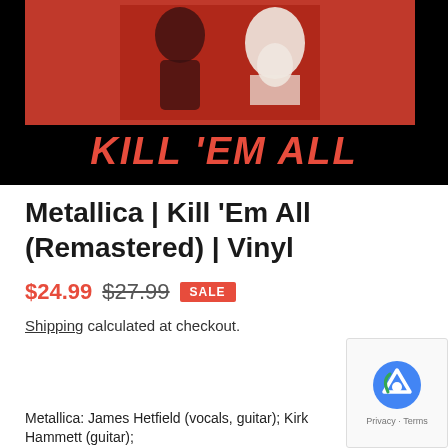[Figure (photo): Album cover for Metallica's Kill 'Em All showing red and black artwork with 'KILL 'EM ALL' text in red on black background]
Metallica | Kill 'Em All (Remastered) | Vinyl
$24.99 $27.99 SALE
Shipping calculated at checkout.
Metallica: James Hetfield (vocals, guitar); Kirk Hammett (guitar);